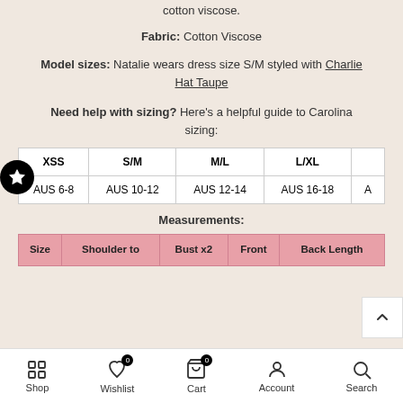cotton viscose.
Fabric: Cotton Viscose
Model sizes: Natalie wears dress size S/M styled with Charlie Hat Taupe
Need help with sizing? Here's a helpful guide to Carolina sizing:
| XSS | S/M | M/L | L/XL |  |
| --- | --- | --- | --- | --- |
| AUS 6-8 | AUS 10-12 | AUS 12-14 | AUS 16-18 | A |
Measurements:
| Size | Shoulder to | Bust x2 | Front | Back Length |
| --- | --- | --- | --- | --- |